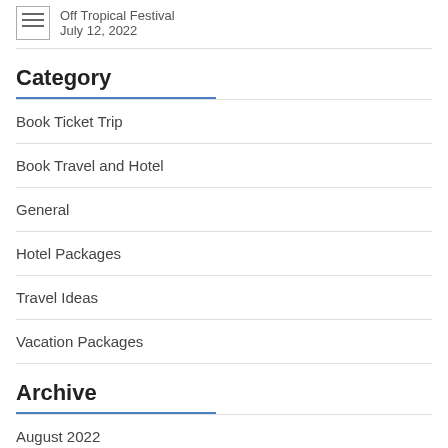Off Tropical Festival
July 12, 2022
Category
Book Ticket Trip
Book Travel and Hotel
General
Hotel Packages
Travel Ideas
Vacation Packages
Archive
August 2022